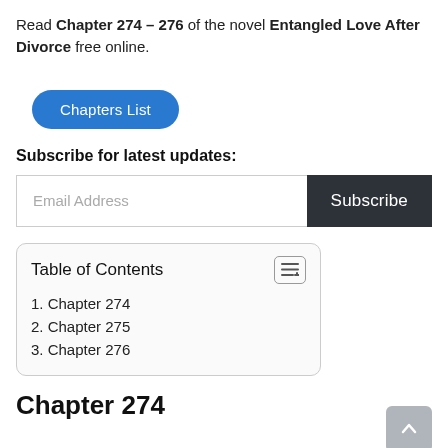Read Chapter 274 – 276 of the novel Entangled Love After Divorce free online.
[Figure (other): Blue rounded rectangle button labeled 'Chapters List']
Subscribe for latest updates:
[Figure (other): Email address input field with placeholder 'Email Address' and a dark 'Subscribe' button]
| 1. Chapter 274 |
| 2. Chapter 275 |
| 3. Chapter 276 |
Chapter 274